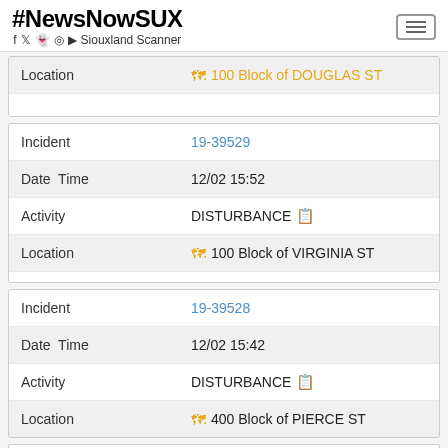#NewsNowSUX f y s © YouTube Siouxland Scanner
| Field | Value |
| --- | --- |
| Location | 100 Block of DOUGLAS ST (partial/cut off) |
| Field | Value |
| --- | --- |
| Incident | 19-39529 |
| Date  Time | 12/02 15:52 |
| Activity | DISTURBANCE |
| Location | 100 Block of VIRGINIA ST |
| Field | Value |
| --- | --- |
| Incident | 19-39528 |
| Date  Time | 12/02 15:42 |
| Activity | DISTURBANCE |
| Location | 400 Block of PIERCE ST |
| Field | Value |
| --- | --- |
| Incident | 19-39527 |
| Date  Time | 12/02 15:33 |